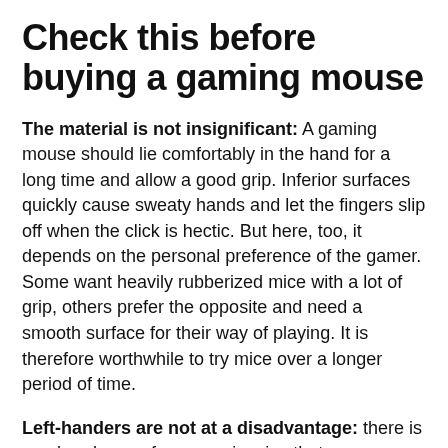Check this before buying a gaming mouse
The material is not insignificant: A gaming mouse should lie comfortably in the hand for a long time and allow a good grip. Inferior surfaces quickly cause sweaty hands and let the fingers slip off when the click is hectic. But here, too, it depends on the personal preference of the gamer. Some want heavily rubberized mice with a lot of grip, others prefer the opposite and need a smooth surface for their way of playing. It is therefore worthwhile to try mice over a longer period of time.
Left-handers are not at a disadvantage: there is an abundance of ergonomic mice that are supposed to relieve the wrist with a thumb rest and a slightly curved shape. Left-handers, however, usually have to limit themselves to symmetrical mice, which in the worst case also have two buttons for thumbs on the wrong side. It is worth taking a